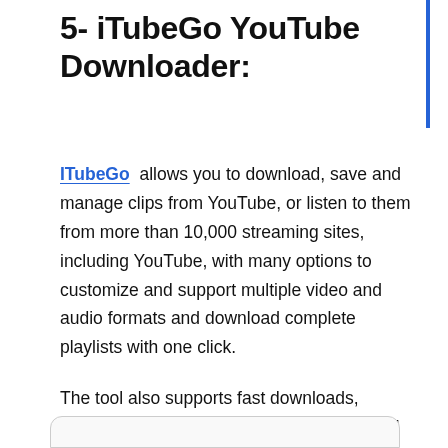5- iTubeGo YouTube Downloader:
ITubeGo allows you to download, save and manage clips from YouTube, or listen to them from more than 10,000 streaming sites, including YouTube, with many options to customize and support multiple video and audio formats and download complete playlists with one click.
The tool also supports fast downloads, provides you with multitasking features, and control video download speeds. The app is also available for Android and macOS users.